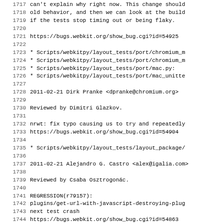Source code / changelog listing, lines 1717-1748+
1717    can't explain why right now. This change should
1718    old behavior, and then we can look at the build
1719    if the tests stop timing out or being flaky.
1720
1721    https://bugs.webkit.org/show_bug.cgi?id=54925
1722
1723        * Scripts/webkitpy/layout_tests/port/chromium_m
1724        * Scripts/webkitpy/layout_tests/port/chromium_m
1725        * Scripts/webkitpy/layout_tests/port/mac.py:
1726        * Scripts/webkitpy/layout_tests/port/mac_unitte
1727
1728 2011-02-21  Dirk Pranke  <dpranke@chromium.org>
1729
1730        Reviewed by Dimitri Glazkov.
1731
1732        nrwt: fix typo causing us to try and repeatedly
1733        https://bugs.webkit.org/show_bug.cgi?id=54904
1734
1735        * Scripts/webkitpy/layout_tests/layout_package/
1736
1737 2011-02-21  Alejandro G. Castro  <alex@igalia.com>
1738
1739        Reviewed by Csaba Osztrogonác.
1740
1741        REGRESSION(r79157):
1742        plugins/get-url-with-javascript-destroying-plug
1743        next test crash
1744        https://bugs.webkit.org/show_bug.cgi?id=54863
1745
1746        * GNUmakefile.am:
1747
1748 2011-02-20  Dirk Pranke  <dpranke@chromium.org>
1749